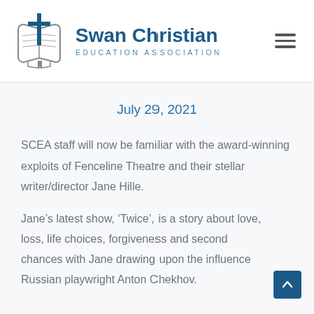[Figure (logo): Swan Christian Education Association logo with cross and open book icon, and text 'Swan Christian EDUCATION ASSOCIATION']
July 29, 2021
SCEA staff will now be familiar with the award-winning exploits of Fenceline Theatre and their stellar writer/director Jane Hille.
Jane's latest show, ‘Twice’, is a story about love, loss, life choices, forgiveness and second chances with Jane drawing upon the influence Russian playwright Anton Chekhov.